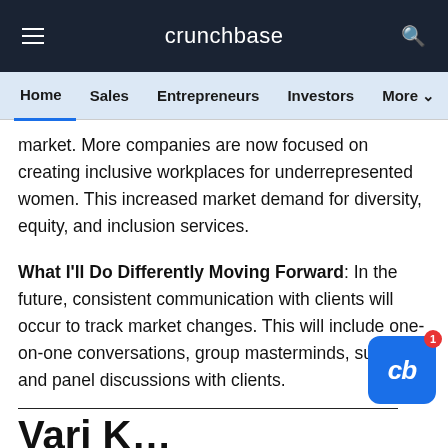crunchbase
Home  Sales  Entrepreneurs  Investors  More
market. More companies are now focused on creating inclusive workplaces for underrepresented women. This increased market demand for diversity, equity, and inclusion services.
What I'll Do Differently Moving Forward: In the future, consistent communication with clients will occur to track market changes. This will include one-on-one conversations, group masterminds, surveys, and panel discussions with clients.
Vari K...